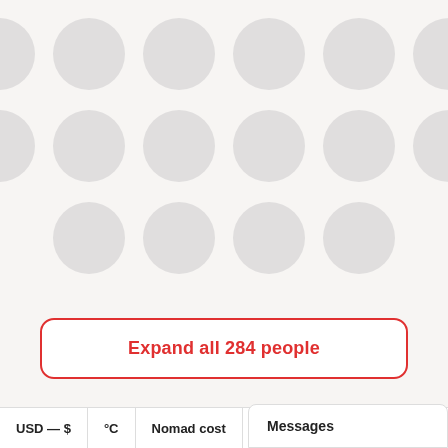[Figure (infographic): A grid of 16 grey placeholder circles arranged in 3 rows (6, 6, 4) representing people avatars]
Expand all 284 people
USD — $
°C
Nomad cost
Messages